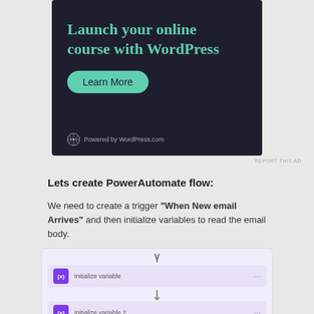[Figure (screenshot): Advertisement banner: dark background with teal title 'Launch your online course with WordPress', a teal 'Learn More' button, and 'Powered by WordPress.com' footer with WordPress logo.]
REPORT THIS AD
Lets create PowerAutomate flow:
We need to create a trigger “When New email Arrives” and then initialize variables to read the email body.
[Figure (screenshot): Power Automate flow diagram showing three steps: 'Initialize variable', 'Initialize variable 2', and 'Initialize variable 3', connected by downward arrows, on a light purple background.]